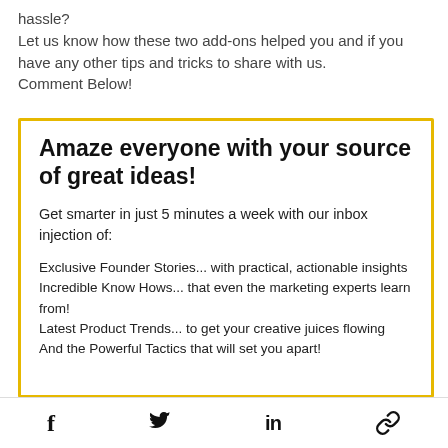hassle?
Let us know how these two add-ons helped you and if you have any other tips and tricks to share with us.
Comment Below!
Amaze everyone with your source of great ideas!
Get smarter in just 5 minutes a week with our inbox injection of:
Exclusive Founder Stories... with practical, actionable insights
Incredible Know Hows... that even the marketing experts learn from!
Latest Product Trends... to get your creative juices flowing
And the Powerful Tactics that will set you apart!
f  [twitter bird]  in  [link icon]